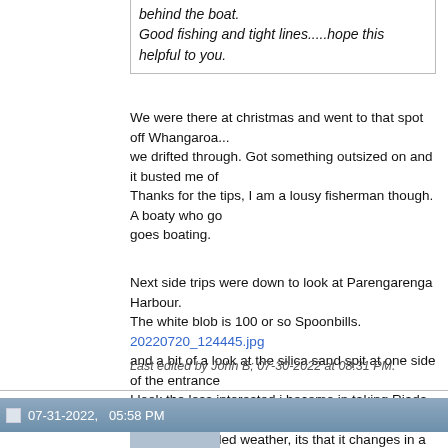behind the boat.
Good fishing and tight lines.....hope this helpful to you.
We were there at christmas and went to that spot off Whangaroa... we drifted through. Got something outsized on and it busted me of Thanks for the tips, I am a lousy fisherman though. A boaty who go goes boating.
Next side trips were down to look at Parengarenga Harbour.
The white blob is 100 or so Spoonbills.
20220720_124445.jpg
and a bit of a look at the silica sand spit at one side of the entrance I look the less interested i become in taking Riada over the bar. Its problem in settled weather, its that it changes in a few minutes . We scoped it out from the sea many years ago.. 2013 I think. Man. anchored off the bar with intention of running in in the dinghy. We a getting up anchored fast. Too fast because they lost something ove it. The next we saw was the first 15 ft of their below water hull( 40 f swell out of nowhere. Saw nearly back to their keel. Yup, lets go.
20220720_133324.jpg
Last edited by John B; 07-30-2022 at 08:31 PM.
07-31-2022,   05:58 PM